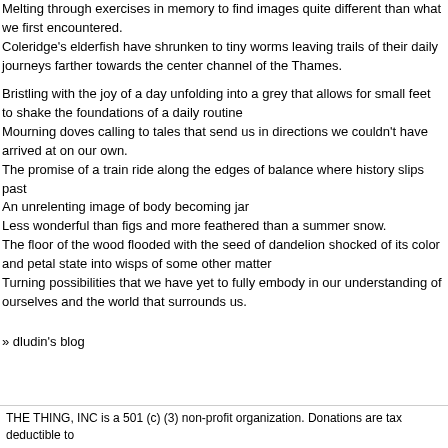Melting through exercises in memory to find images quite different than what we first encountered.
Coleridge's elderfish have shrunken to tiny worms leaving trails of their daily journeys farther towards the center channel of the Thames.
Bristling with the joy of a day unfolding into a grey that allows for small feet to shake the foundations of a daily routine
Mourning doves calling to tales that send us in directions we couldn't have arrived at on our own.
The promise of a train ride along the edges of balance where history slips past
An unrelenting image of body becoming jar
Less wonderful than figs and more feathered than a summer snow.
The floor of the wood flooded with the seed of dandelion shocked of its color and petal state into wisps of some other matter
Turning possibilities that we have yet to fully embody in our understanding of ourselves and the world that surrounds us.
» dludin's blog
THE THING, INC is a 501 (c) (3) non-profit organization. Donations are tax deductible to